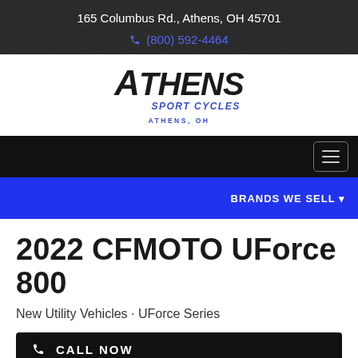165 Columbus Rd., Athens, OH 45701
(800) 592-4464
[Figure (logo): Athens Sport Cycles logo with stylized italic ATHENS text and Sport Cycles subtitle, Athens, OH]
BRANDS WE SELL
2022 CFMOTO UForce 800
New Utility Vehicles · UForce Series
CALL NOW